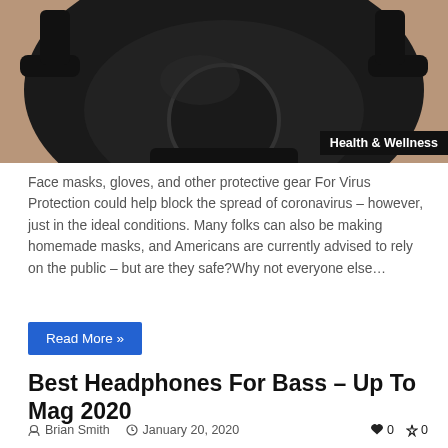[Figure (photo): Person wearing a black gas mask/respirator, top portion of image visible]
Face masks, gloves, and other protective gear For Virus Protection could help block the spread of coronavirus – however, just in the ideal conditions. Many folks can also be making homemade masks, and Americans are currently advised to rely on the public – but are they safe?Why not everyone else…
Read More »
Best Headphones For Bass – Up To Mag 2020
Brian Smith   January 20, 2020   0   0
[Figure (photo): Person near gym equipment, partially visible, with 98% badge overlay]